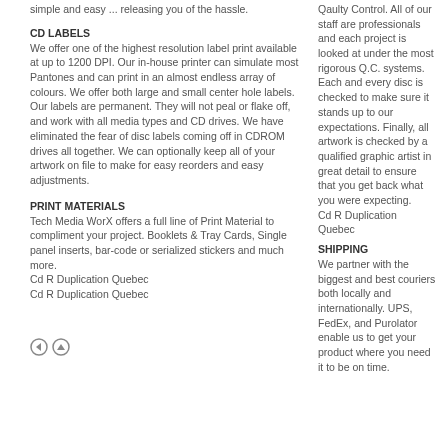simple and easy ... releasing you of the hassle.
CD LABELS
We offer one of the highest resolution label print available at up to 1200 DPI. Our in-house printer can simulate most Pantones and can print in an almost endless array of colours. We offer both large and small center hole labels. Our labels are permanent. They will not peal or flake off, and work with all media types and CD drives. We have eliminated the fear of disc labels coming off in CDROM drives all together. We can optionally keep all of your artwork on file to make for easy reorders and easy adjustments.
PRINT MATERIALS
Tech Media WorX offers a full line of Print Material to compliment your project. Booklets & Tray Cards, Single panel inserts, bar-code or serialized stickers and much more.
Cd R Duplication Quebec
Cd R Duplication Quebec
Qaulty Control. All of our staff are professionals and each project is looked at under the most rigorous Q.C. systems. Each and every disc is checked to make sure it stands up to our expectations. Finally, all artwork is checked by a qualified graphic artist in great detail to ensure that you get back what you were expecting.
Cd R Duplication Quebec
SHIPPING
We partner with the biggest and best couriers both locally and internationally. UPS, FedEx, and Purolator enable us to get your product where you need it to be on time.
[Figure (other): Navigation icons: back arrow circle and up arrow circle]